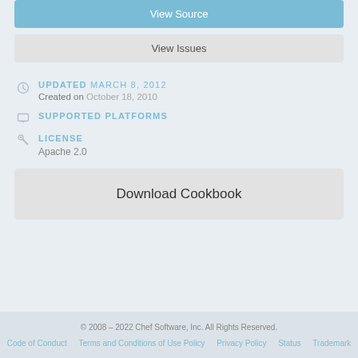View Source
View Issues
UPDATED MARCH 8, 2012
Created on October 18, 2010
SUPPORTED PLATFORMS
LICENSE
Apache 2.0
Download Cookbook
© 2008 – 2022 Chef Software, Inc. All Rights Reserved.
Code of Conduct   Terms and Conditions of Use Policy   Privacy Policy   Status   Trademark